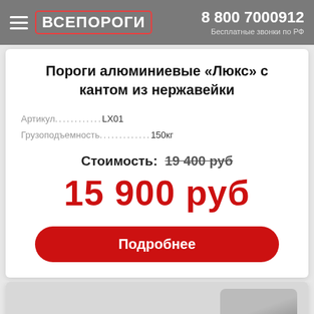ВСЕПОРОГИ  8 800 7000912  Бесплатные звонки по РФ
Пороги алюминиевые «Люкс» с кантом из нержавейки
Артикул..............LX01
Грузоподъемность...............150кг
Стоимость: 19 400 руб
15 900 руб
Подробнее
[Figure (photo): Partial view of a product image at the bottom of the page, showing a dark automotive threshold/sill product on a light grey background]